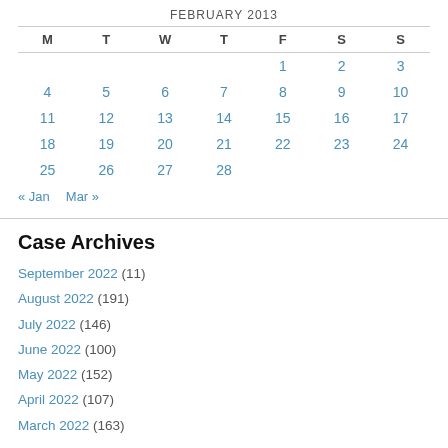FEBRUARY 2013
| M | T | W | T | F | S | S |
| --- | --- | --- | --- | --- | --- | --- |
|  |  |  |  | 1 | 2 | 3 |
| 4 | 5 | 6 | 7 | 8 | 9 | 10 |
| 11 | 12 | 13 | 14 | 15 | 16 | 17 |
| 18 | 19 | 20 | 21 | 22 | 23 | 24 |
| 25 | 26 | 27 | 28 |  |  |  |
« Jan   Mar »
Case Archives
September 2022 (11)
August 2022 (191)
July 2022 (146)
June 2022 (100)
May 2022 (152)
April 2022 (107)
March 2022 (163)